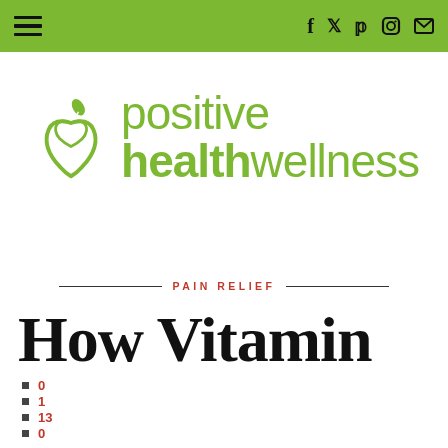Navigation bar with hamburger menu and social icons (Facebook, Twitter, Pinterest, Instagram, Email)
[Figure (logo): Positive Health Wellness logo: green apple/heart shape with leaf, beside text 'positive healthwellness' in green]
PAIN RELIEF
How Vitamin
0
1
13
0